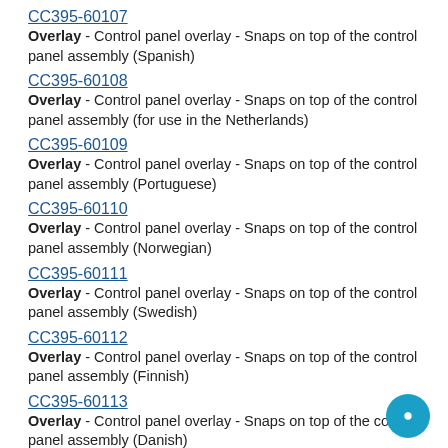CC395-60107
Overlay - Control panel overlay - Snaps on top of the control panel assembly (Spanish)
CC395-60108
Overlay - Control panel overlay - Snaps on top of the control panel assembly (for use in the Netherlands)
CC395-60109
Overlay - Control panel overlay - Snaps on top of the control panel assembly (Portuguese)
CC395-60110
Overlay - Control panel overlay - Snaps on top of the control panel assembly (Norwegian)
CC395-60111
Overlay - Control panel overlay - Snaps on top of the control panel assembly (Swedish)
CC395-60112
Overlay - Control panel overlay - Snaps on top of the control panel assembly (Finnish)
CC395-60113
Overlay - Control panel overlay - Snaps on top of the control panel assembly (Danish)
CC395-60114
Overlay - Control panel overlay - Snaps on top of the control panel assembly